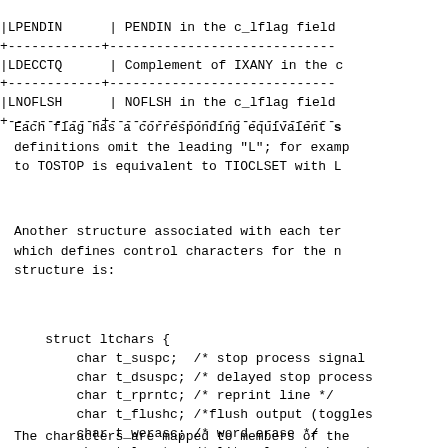| |LPENDIN | | PENDIN in the c_lflag field |
| |LDECCTQ | | Complement of IXANY in the c |
| |LNOFLSH | | NOFLSH in the c_lflag field |
Each flag has a corresponding equivalent s... definitions omit the leading "L"; for example, to TOSTOP is equivalent to TIOCLSET with L...
Another structure associated with each term... which defines control characters for the ne... structure is:
struct ltchars {
    char t_suspc;  /* stop process signal
    char t_dsuspc; /* delayed stop process
    char t_rprntc; /* reprint line */
    char t_flushc; /*flush output (toggles
    char t_werasc; /* word erase */
    char t_lnextc; /* literal next charact
};
The characters are mapped to members of the structure as follows: